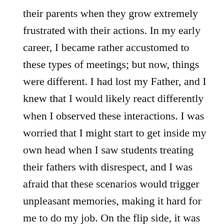their parents when they grow extremely frustrated with their actions. In my early career, I became rather accustomed to these types of meetings; but now, things were different. I had lost my Father, and I knew that I would likely react differently when I observed these interactions. I was worried that I might start to get inside my own head when I saw students treating their fathers with disrespect, and I was afraid that these scenarios would trigger unpleasant memories, making it hard for me to do my job. On the flip side, it was also difficult for me to watch parents who might come in and are disinterested in their children, because I lost a Father who was always, always interested in my life.